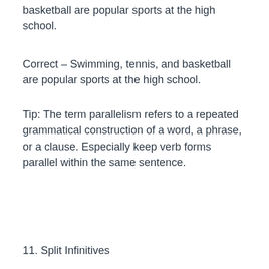basketball are popular sports at the high school.
Correct – Swimming, tennis, and basketball are popular sports at the high school.
Tip: The term parallelism refers to a repeated grammatical construction of a word, a phrase, or a clause. Especially keep verb forms parallel within the same sentence.
11. Split Infinitives